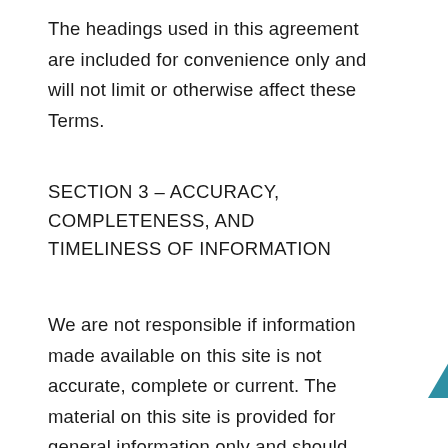The headings used in this agreement are included for convenience only and will not limit or otherwise affect these Terms.
SECTION 3 – ACCURACY, COMPLETENESS, AND TIMELINESS OF INFORMATION
We are not responsible if information made available on this site is not accurate, complete or current. The material on this site is provided for general information only and should not be relied upon or used as the sole basis for making decisions without consulting primary, more accurate, more complete or more